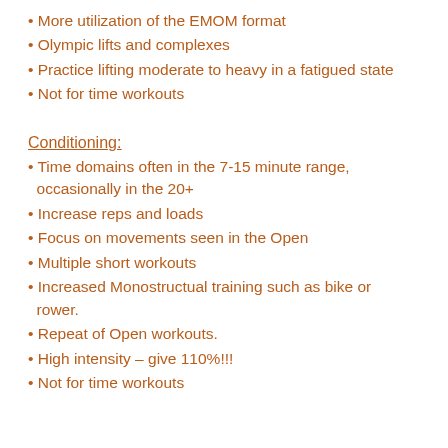More utilization of the EMOM format
Olympic lifts and complexes
Practice lifting moderate to heavy in a fatigued state
Not for time workouts
Conditioning:
Time domains often in the 7-15 minute range, occasionally in the 20+
Increase reps and loads
Focus on movements seen in the Open
Multiple short workouts
Increased Monostructual training such as bike or rower.
Repeat of Open workouts.
High intensity – give 110%!!!
Not for time workouts